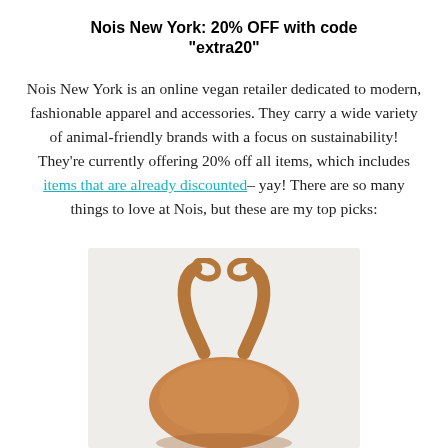Nois New York: 20% OFF with code "extra20"
Nois New York is an online vegan retailer dedicated to modern, fashionable apparel and accessories. They carry a wide variety of animal-friendly brands with a focus on sustainability! They're currently offering 20% off all items, which includes items that are already discounted– yay! There are so many things to love at Nois, but these are my top picks:
[Figure (photo): Top-down view of a round tan/caramel leather vegan backpack with crossed straps, shown against a light gray background.]